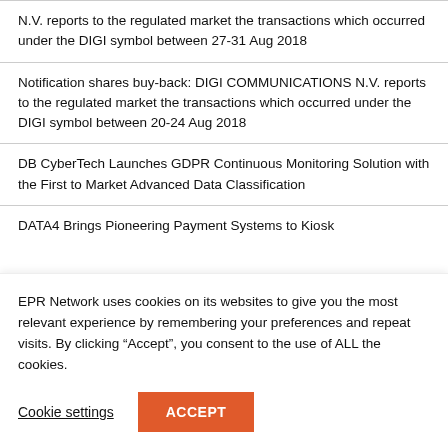N.V. reports to the regulated market the transactions which occurred under the DIGI symbol between 27-31 Aug 2018
Notification shares buy-back: DIGI COMMUNICATIONS N.V. reports to the regulated market the transactions which occurred under the DIGI symbol between 20-24 Aug 2018
DB CyberTech Launches GDPR Continuous Monitoring Solution with the First to Market Advanced Data Classification
DATA4 Brings Pioneering Payment Systems to Kiosk
EPR Network uses cookies on its websites to give you the most relevant experience by remembering your preferences and repeat visits. By clicking “Accept”, you consent to the use of ALL the cookies.